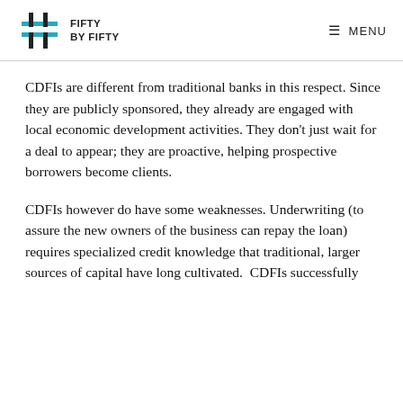FIFTY BY FIFTY | MENU
CDFIs are different from traditional banks in this respect. Since they are publicly sponsored, they already are engaged with local economic development activities. They don’t just wait for a deal to appear; they are proactive, helping prospective borrowers become clients.
CDFIs however do have some weaknesses. Underwriting (to assure the new owners of the business can repay the loan) requires specialized credit knowledge that traditional, larger sources of capital have long cultivated.  CDFIs successfully